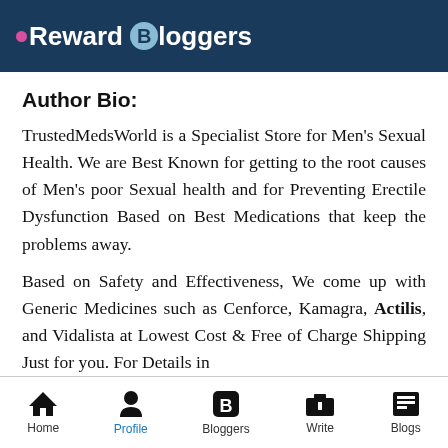Reward Bloggers
Author Bio:
TrustedMedsWorld is a Specialist Store for Men's Sexual Health. We are Best Known for getting to the root causes of Men's poor Sexual health and for Preventing Erectile Dysfunction Based on Best Medications that keep the problems away.
Based on Safety and Effectiveness, We come up with Generic Medicines such as Cenforce, Kamagra, Actilis, and Vidalista at Lowest Cost & Free of Charge Shipping Just for you. For Details in
Home   Profile   Bloggers   Write   Blogs